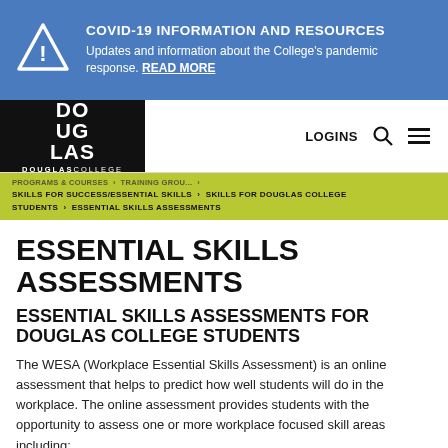[Figure (infographic): COVID-19 Information and Resources banner with warning triangle icon on blue background. Text: COVID-19 INFORMATION AND RESOURCES. Updates and information about the College's pandemic response. READ MORE]
[Figure (logo): Douglas College logo: DO/UG/LAS in white on black background with DOUGLASCOLLEGE text below]
LOGINS [search icon] [menu icon]
PROGRAMS & COURSES > TRAINING GROU... > SKILLS FOR SUCCESS/ESSENTIAL SKILLS > SKILLS FOR DOUGLAS COLLEGE STUDENTS > ESSENTIAL SKILLS ASSESSMENTS
ESSENTIAL SKILLS ASSESSMENTS
ESSENTIAL SKILLS ASSESSMENTS FOR DOUGLAS COLLEGE STUDENTS
The WESA (Workplace Essential Skills Assessment) is an online assessment that helps to predict how well students will do in the workplace. The online assessment provides students with the opportunity to assess one or more workplace focused skill areas including: